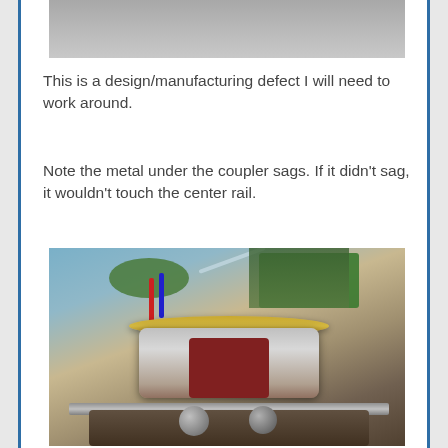[Figure (photo): Partial top view of a mechanical/model train coupler component, gray metallic surface visible]
This is a design/manufacturing defect I will need to work around.
Note the metal under the coupler sags. If it didn't sag, it wouldn't touch the center rail.
[Figure (photo): Close-up macro photograph of a model train coupler mechanism showing chrome/metal coupler with red interior components, green circuit board visible at top, wiring, and track rails at bottom]